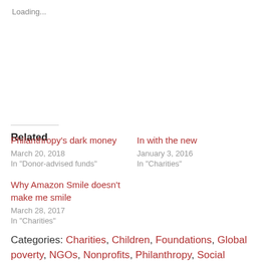Loading...
Related
Philanthropy's dark money
March 20, 2018
In "Donor-advised funds"
In with the new
January 3, 2016
In "Charities"
Why Amazon Smile doesn't make me smile
March 28, 2017
In "Charities"
Categories: Charities, Children, Foundations, Global poverty, NGOs, Nonprofits, Philanthropy, Social